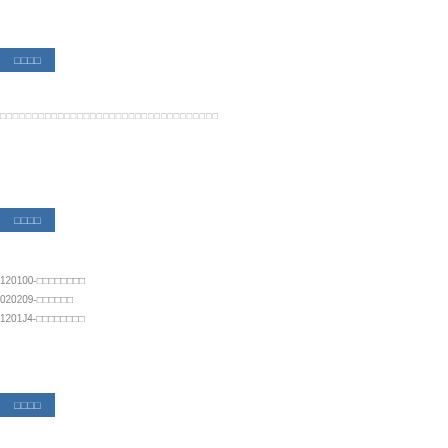□□□□
□□□□□□□□□□□□□□□□□□□□□□□□□□□□□□□□□□
□□□□
120100-□□□□□□□□
020209-□□□□□□
1201J4-□□□□□□□□
□□□□